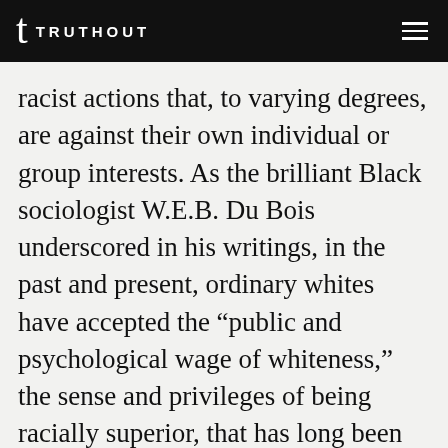TRUTHOUT
racist actions that, to varying degrees, are against their own individual or group interests. As the brilliant Black sociologist W.E.B. Du Bois underscored in his writings, in the past and present, ordinary whites have accepted the “public and psychological wage of whiteness,” the sense and privileges of being racially superior, that has long been offered to them by the white male elite. Accepting this psychological wage of whiteness has made ordinary whites much less likely over the